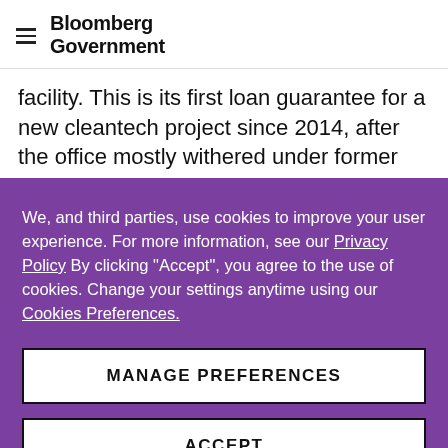Bloomberg Government
facility. This is its first loan guarantee for a new cleantech project since 2014, after the office mostly withered under former President Donald Trump. Read more from Ari Natter.
We, and third parties, use cookies to improve your user experience. For more information, see our Privacy Policy By clicking "Accept", you agree to the use of cookies. Change your settings anytime using our Cookies Preferences.
MANAGE PREFERENCES
ACCEPT